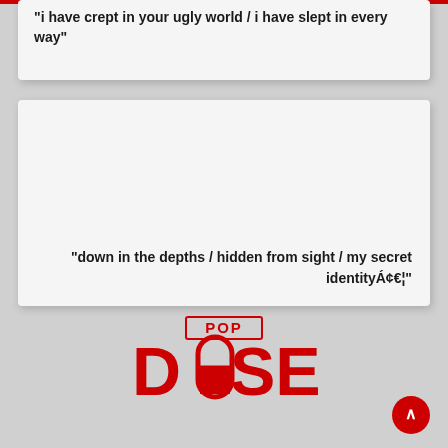"i have crept in your ugly world / i have slept in every way"
"down in the depths / hidden from sight / my secret identityÁ¢€¦"
[Figure (logo): Popdose logo in red: large bold letters spelling DOSE with POP above, the O in DOSE depicted as a capsule/pill shape]